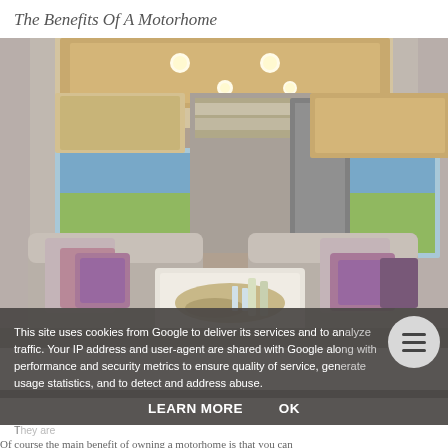The Benefits Of A Motorhome
[Figure (photo): Interior of a modern luxury motorhome showing a dining/lounge area with grey upholstered seating, purple accent cushions, a white table with food and drinks, wooden overhead cabinet panels with recessed lighting, a kitchen area in the background, and views of the outdoors through large windows on both sides.]
This site uses cookies from Google to deliver its services and to analyze traffic. Your IP address and user-agent are shared with Google along with performance and security metrics to ensure quality of service, generate usage statistics, and to detect and address abuse.
LEARN MORE
OK
They are
Of course the main benefit of owning a motorhome is that you can